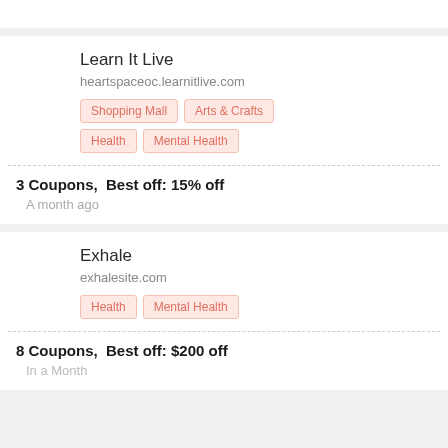Learn It Live
heartspaceoc.learnitlive.com
Shopping Mall
Arts & Crafts
Health
Mental Health
3 Coupons,  Best off: 15% off
A month ago
Exhale
exhalesite.com
Health
Mental Health
8 Coupons,  Best off: $200 off
In a Month